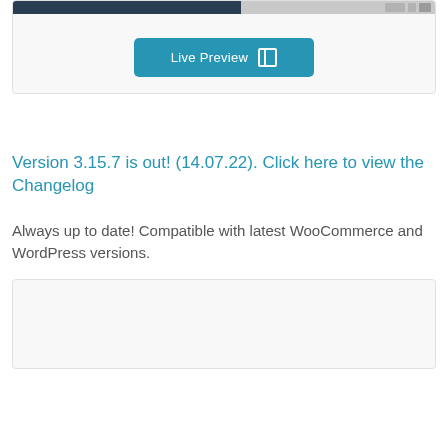[Figure (screenshot): Top card with a preview image strip (dark left, light right with blocks) and a teal 'Live Preview' button with a grid icon]
Version 3.15.7 is out! (14.07.22). Click here to view the Changelog
Always up to date! Compatible with latest WooCommerce and WordPress versions.
[Figure (screenshot): Bottom light gray card, partially visible]